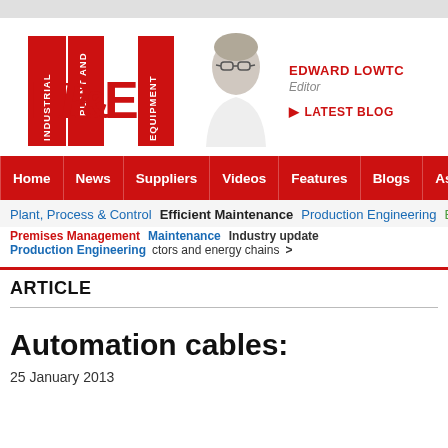[Figure (logo): Industrial Plant & Equipment (IP&E) magazine logo — red block letters]
[Figure (photo): Headshot of Edward Lowton, Editor, wearing glasses and white shirt]
EDWARD LOWTC
Editor
LATEST BLOG
[Figure (infographic): Navigation bar with: Home, News, Suppliers, Videos, Features, Blogs, Associa...]
Plant, Process & Control   Efficient Maintenance   Production Engineering   Energy
Premises Management  Maintenance  Industry update  ctors and energy chains  >
ARTICLE
Automation cables:
25 January 2013